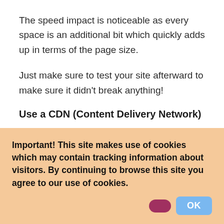The speed impact is noticeable as every space is an additional bit which quickly adds up in terms of the page size.
Just make sure to test your site afterward to make sure it didn’t break anything!
Use a CDN (Content Delivery Network)
A content delivery network (CDN) is a system of distributed servers that deliver web content to
Important! This site makes use of cookies which may contain tracking information about visitors. By continuing to browse this site you agree to our use of cookies.